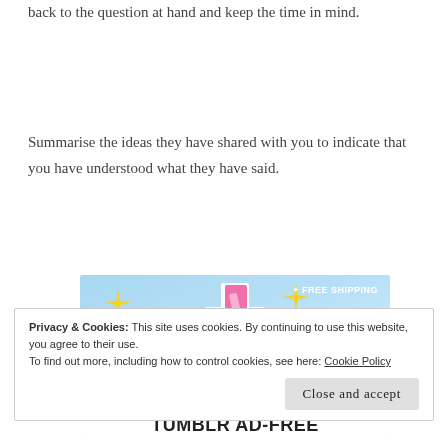back to the question at hand and keep the time in mind.
Summarise the ideas they have shared with you to indicate that you have understood what they have said.
[Figure (illustration): Tumblr Ad-Free advertisement banner with the Tumblr 't' logo, sparkle decorations, blue sky background, and text '+ FREE SHIPPING' and 'TUMBLR AD-FREE']
Privacy & Cookies: This site uses cookies. By continuing to use this website, you agree to their use.
To find out more, including how to control cookies, see here: Cookie Policy
Close and accept